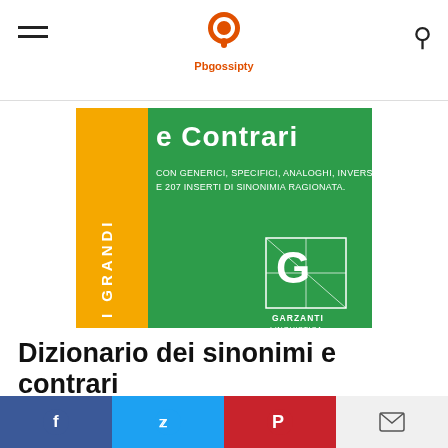Pbgossipty (logo)
[Figure (photo): Book cover: Dizionario dei sinonimi e Contrari, Garzanti Linguistica, I Grandi series. Yellow spine on left, green cover on right with white text.]
Dizionario dei sinonimi e contrari
€39.50 (strikethrough old price), €24.99 in stock
Social share buttons: Facebook, Twitter, Pinterest, Email